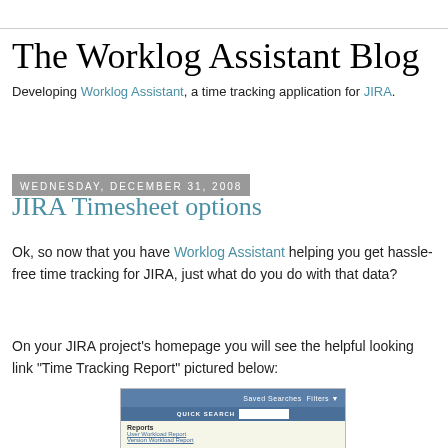The Worklog Assistant Blog
Developing Worklog Assistant, a time tracking application for JIRA.
Wednesday, December 31, 2008
JIRA Timesheet options
Ok, so now that you have Worklog Assistant helping you get hassle-free time tracking for JIRA, just what do you do with that data?
On your JIRA project's homepage you will see the helpful looking link "Time Tracking Report" pictured below:
[Figure (screenshot): Screenshot of JIRA project homepage showing a navigation bar with 'Saved Searches' and 'Filters' options, a 'QUICK SEARCH' bar, and a Reports section with links including 'User Workload Report' and 'Version Workload Report'.]